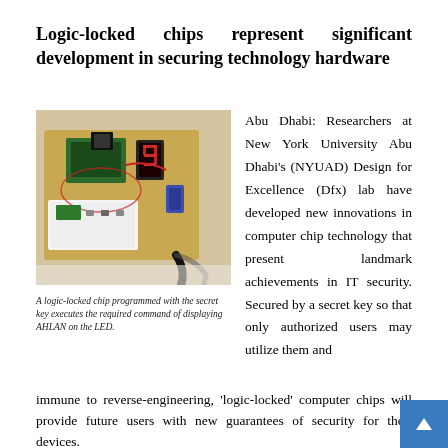Logic-locked chips represent significant development in securing technology hardware
[Figure (photo): A logic-locked chip on a breadboard with electronic components, a 7-segment LED display, and a USB cable connected]
A logic-locked chip programmed with the secret key executes the required command of displaying AHLAN on the LED.
Abu Dhabi: Researchers at New York University Abu Dhabi's (NYUAD) Design for Excellence (Dfx) lab have developed new innovations in computer chip technology that present landmark achievements in IT security. Secured by a secret key so that only authorized users may utilize them and immune to reverse-engineering, 'logic-locked' computer chips will provide future users with new guarantees of security for their devices.